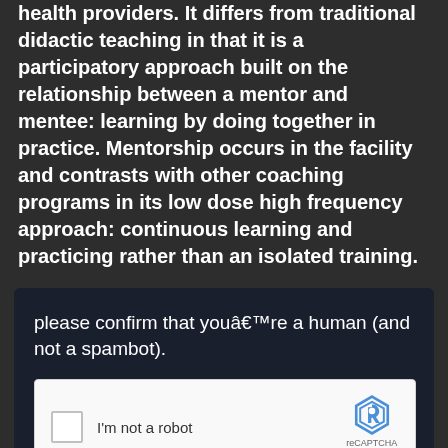health providers. It differs from traditional didactic teaching in that it is a participatory approach built on the relationship between a mentor and mentee: learning by doing together in practice. Mentorship occurs in the facility and contrasts with other coaching programs in its low dose high frequency approach: continuous learning and practicing rather than an isolated training.
[Figure (screenshot): A reCAPTCHA widget on a dark navy background. Text reads 'please confirm that youâ€™re a human (and not a spambot).' Below is a white reCAPTCHA box with a checkbox, 'I'm not a robot' label, the reCAPTCHA logo, and 'reCAPTCHA Privacy - Terms' text. At the bottom, partial dark social media icon circles are visible.]